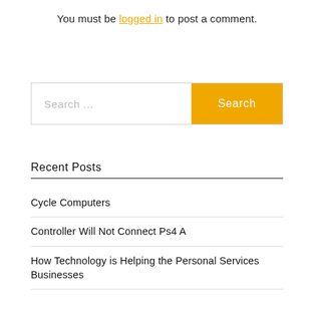You must be logged in to post a comment.
Search ...
Recent Posts
Cycle Computers
Controller Will Not Connect Ps4 A
How Technology is Helping the Personal Services Businesses